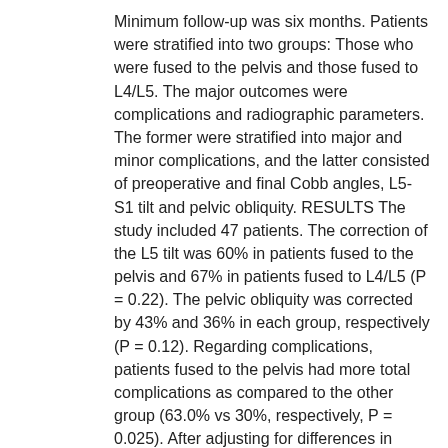Minimum follow-up was six months. Patients were stratified into two groups: Those who were fused to the pelvis and those fused to L4/L5. The major outcomes were complications and radiographic parameters. The former were stratified into major and minor complications, and the latter consisted of preoperative and final Cobb angles, L5-S1 tilt and pelvic obliquity. RESULTS The study included 47 patients. The correction of the L5 tilt was 60% in patients fused to the pelvis and 67% in patients fused to L4/L5 (P = 0.22). The pelvic obliquity was corrected by 43% and 36% in each group, respectively (P = 0.12). Regarding complications, patients fused to the pelvis had more total complications as compared to the other group (63.0% vs 30%, respectively, P = 0.025). After adjusting for differences in radiographic parameters (lumbar curve, L5 tilt, and pelvic obliquity), these patients had a 79% increased chance of developing complications (Relative risk = 1.79; 95%CI: 1.011-3.41). CONCLUSION Including the pelvis in the distal level of fusion for cerebral palsy scoliosis places patients at an increased risk of postoperative complications. The added value that pelvic fusion offers in terms of